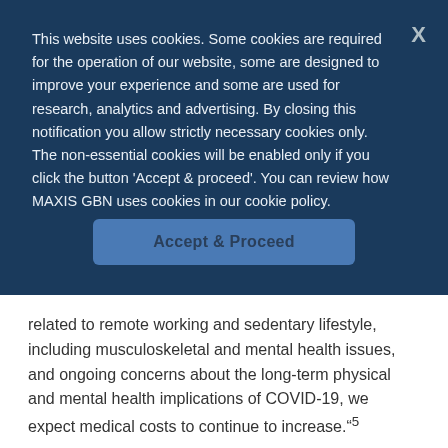This website uses cookies. Some cookies are required for the operation of our website, some are designed to improve your experience and some are used for research, analytics and advertising. By closing this notification you allow strictly necessary cookies only. The non-essential cookies will be enabled only if you click the button 'Accept & proceed'. You can review how MAXIS GBN uses cookies in our cookie policy.
Accept & Proceed
related to remote working and sedentary lifestyle, including musculoskeletal and mental health issues, and ongoing concerns about the long-term physical and mental health implications of COVID-19, we expect medical costs to continue to increase."5